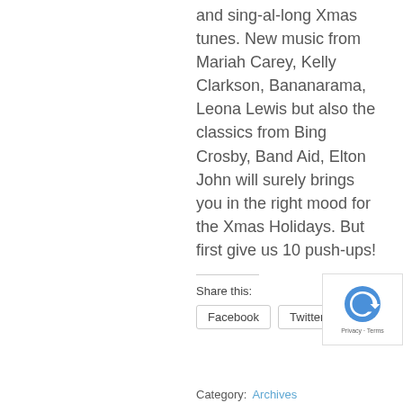and sing-al-long Xmas tunes. New music from Mariah Carey, Kelly Clarkson, Bananarama, Leona Lewis but also the classics from Bing Crosby, Band Aid, Elton John will surely brings you in the right mood for the Xmas Holidays. But first give us 10 push-ups!
Share this:
Facebook  Twitter
Category:  Archives